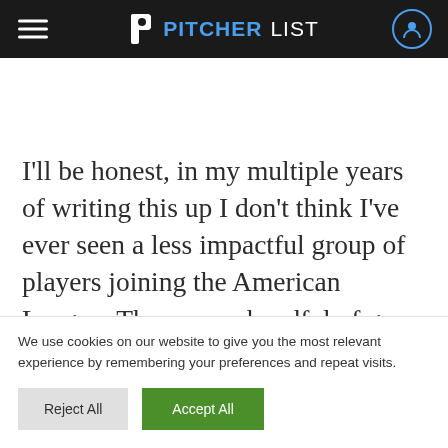PITCHERLIST
I'll be honest, in my multiple years of writing this up I don't think I've ever seen a less impactful group of players joining the American League. There are a handful of guys who will
We use cookies on our website to give you the most relevant experience by remembering your preferences and repeat visits.
Reject All   Accept All